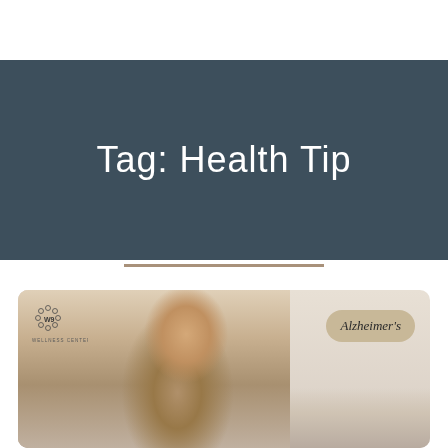Tag: Health Tip
[Figure (photo): Dark slate-blue banner background with the title text 'Tag: Health Tip' in white light-weight font]
[Figure (photo): Card with photo of a laughing middle-aged Asian man and a W9 Wellness Center logo on the left panel, and an 'Alzheimer's' badge label on the right panel with a partial view of an elderly woman]